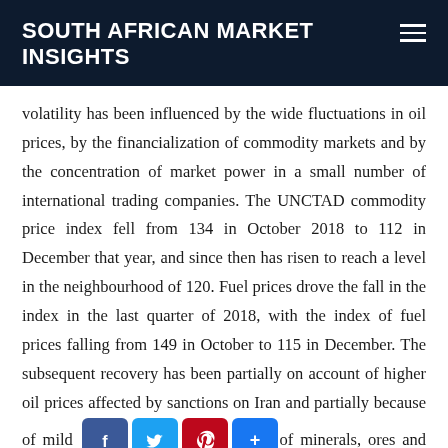SOUTH AFRICAN MARKET INSIGHTS
volatility has been influenced by the wide fluctuations in oil prices, by the financialization of commodity markets and by the concentration of market power in a small number of international trading companies. The UNCTAD commodity price index fell from 134 in October 2018 to 112 in December that year, and since then has risen to reach a level in the neighbourhood of 120. Fuel prices drove the fall in the index in the last quarter of 2018, with the index of fuel prices falling from 149 in October to 115 in December. The subsequent recovery has been partially on account of higher oil prices affected by sanctions on Iran and partially because of mild [social share icons] of minerals, ores and metals. A spl... ...slowdown in the